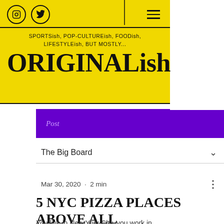SPORTSish, POP-CULTUREish, FOODish, LIFESTYLEish, BUT MOSTLY...
ORIGINALish
Post
The Big Board
Mar 30, 2020 · 2 min
5 NYC PIZZA PLACES ABOVE ALL
You live in New York City, you work in